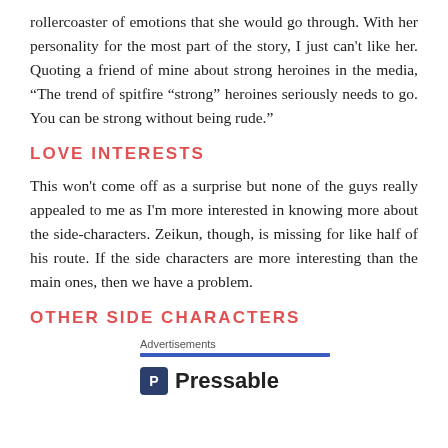rollercoaster of emotions that she would go through. With her personality for the most part of the story, I just can't like her. Quoting a friend of mine about strong heroines in the media, "The trend of spitfire "strong" heroines seriously needs to go. You can be strong without being rude."
LOVE INTERESTS
This won't come off as a surprise but none of the guys really appealed to me as I'm more interested in knowing more about the side-characters. Zeikun, though, is missing for like half of his route. If the side characters are more interesting than the main ones, then we have a problem.
OTHER SIDE CHARACTERS
Advertisements
[Figure (logo): Pressable logo with blue bar advertisement separator and Pressable wordmark with icon]